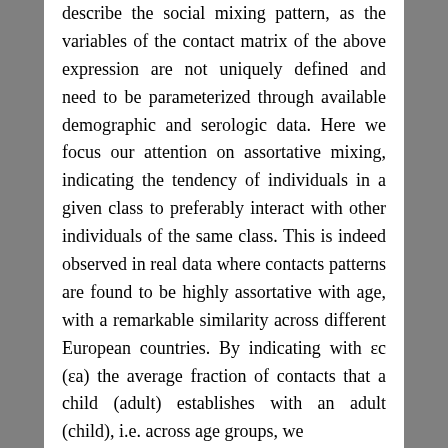describe the social mixing pattern, as the variables of the contact matrix of the above expression are not uniquely defined and need to be parameterized through available demographic and serologic data. Here we focus our attention on assortative mixing, indicating the tendency of individuals in a given class to preferably interact with other individuals of the same class. This is indeed observed in real data where contacts patterns are found to be highly assortative with age, with a remarkable similarity across different European countries. By indicating with εc (εa) the average fraction of contacts that a child (adult) establishes with an adult (child), i.e. across age groups, we